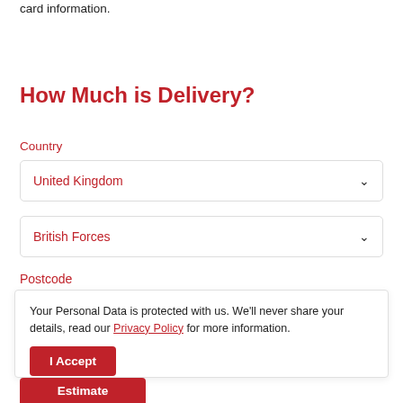card information.
How Much is Delivery?
Country
United Kingdom
British Forces
Postcode
Your Personal Data is protected with us. We'll never share your details, read our Privacy Policy for more information.
I Accept
Estimate